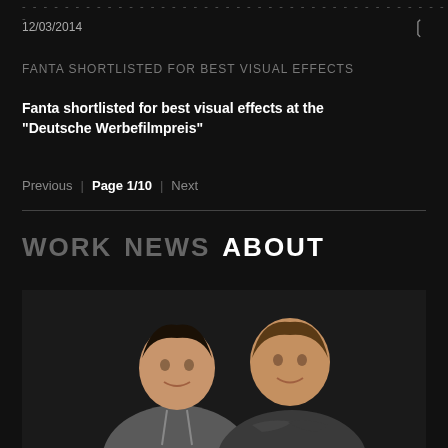- - - - - - - - - - - - - - - - - - - - - - - - - - - - - - - - - - - - -
12/03/2014
FANTA SHORTLISTED FOR BEST VISUAL EFFECTS
Fanta shortlisted for best visual effects at the "Deutsche Werbefilmpreis"
Previous  |  Page 1/10  |  Next
WORK NEWS ABOUT
[Figure (photo): Portrait photograph of two men posing together against a dark background. The man on the left wears a grey hoodie over a white t-shirt, and the man on the right wears a dark grey shirt with arms crossed.]